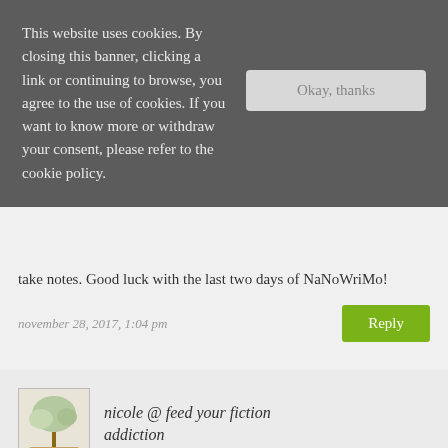This website uses cookies. By closing this banner, clicking a link or continuing to browse, you agree to the use of cookies. If you want to know more or withdraw your consent, please refer to the cookie policy.
take notes. Good luck with the last two days of NaNoWriMo!
november 28, 2017, 1:04 pm
Reply
nicole @ feed your fiction addiction
I hope someday I get to the point of releasing—we shall see!
december 23, 2017, 8:12 pm
Reply